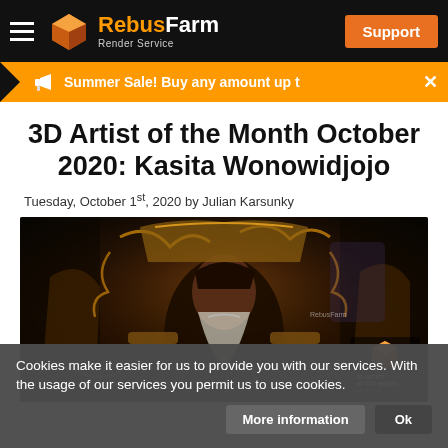RebusFarm Render Service — Support
Summer Sale! Buy any amount up t  ✕
3D Artist of the Month October 2020: Kasita Wonowidjojo
Tuesday, October 1st, 2020 by Julian Karsunky
[Figure (photo): 3D render of an elderly man with white beard seated in an ornate golden throne with intricate decorations, dark moody background. Badge overlay reads '3D ARTIST OF THE MONTH' with RebusFarm logo.]
Cookies make it easier for us to provide you with our services. With the usage of our services you permit us to use cookies.